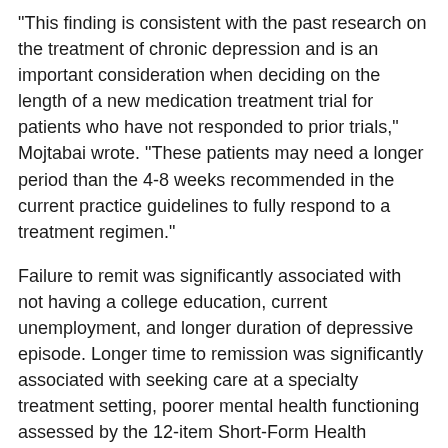“This finding is consistent with the past research on the treatment of chronic depression and is an important consideration when deciding on the length of a new medication treatment trial for patients who have not responded to prior trials,” Mojtabai wrote. “These patients may need a longer period than the 4-8 weeks recommended in the current practice guidelines to fully respond to a treatment regimen.”
Failure to remit was significantly associated with not having a college education, current unemployment, and longer duration of depressive episode. Longer time to remission was significantly associated with seeking care at a specialty treatment setting, poorer mental health functioning assessed by the 12-item Short-Form Health Survey, and impairment in role functioning assessed by the Work and Social Adjustment Scale.
“Treatment resistance is often clinically defined by nonremission after two adequate antidepressant medication treatment trials. Yet, treatment-resistant cases are likely heterogeneous, [composed] of those who would remit in...